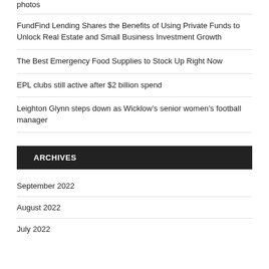photos
FundFind Lending Shares the Benefits of Using Private Funds to Unlock Real Estate and Small Business Investment Growth
The Best Emergency Food Supplies to Stock Up Right Now
EPL clubs still active after $2 billion spend
Leighton Glynn steps down as Wicklow’s senior women’s football manager
ARCHIVES
September 2022
August 2022
July 2022